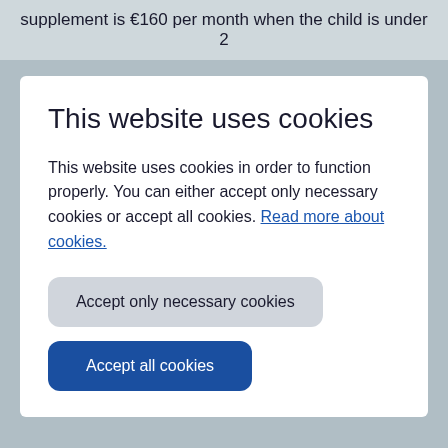supplement is €160 per month when the child is under 2
This website uses cookies
This website uses cookies in order to function properly. You can either accept only necessary cookies or accept all cookies. Read more about cookies.
Accept only necessary cookies
Accept all cookies